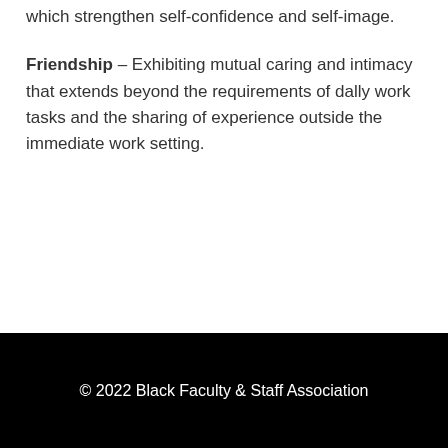which strengthen self-confidence and self-image.
Friendship – Exhibiting mutual caring and intimacy that extends beyond the requirements of dally work tasks and the sharing of experience outside the immediate work setting.
© 2022 Black Faculty & Staff Association